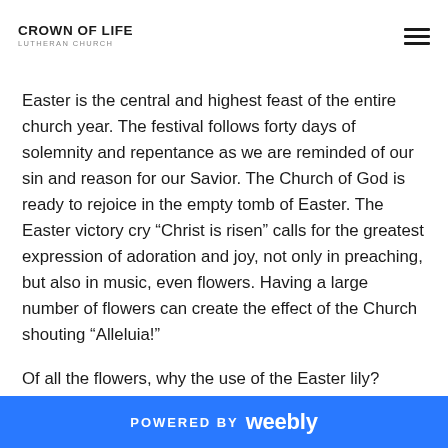CROWN OF LIFE LUTHERAN CHURCH
Easter is the central and highest feast of the entire church year. The festival follows forty days of solemnity and repentance as we are reminded of our sin and reason for our Savior. The Church of God is ready to rejoice in the empty tomb of Easter. The Easter victory cry “Christ is risen” calls for the greatest expression of adoration and joy, not only in preaching, but also in music, even flowers. Having a large number of flowers can create the effect of the Church shouting “Alleluia!”
Of all the flowers, why the use of the Easter lily? Probably, the best reason I can think of is that white is
POWERED BY weebly